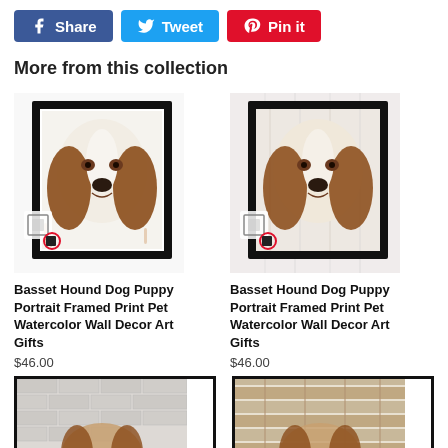[Figure (infographic): Social share buttons: Facebook Share (blue), Twitter Tweet (light blue), Pinterest Pin it (red)]
More from this collection
[Figure (photo): Basset Hound dog puppy portrait in a black frame, watercolor style, white background - product 1]
Basset Hound Dog Puppy Portrait Framed Print Pet Watercolor Wall Decor Art Gifts
$46.00
[Figure (photo): Basset Hound dog puppy portrait in a black frame, watercolor/worn background style - product 2]
Basset Hound Dog Puppy Portrait Framed Print Pet Watercolor Wall Decor Art Gifts
$46.00
[Figure (photo): Partial bottom product image 1 - dog portrait framed print, brick wall background]
[Figure (photo): Partial bottom product image 2 - dog portrait framed print, wood plank background]